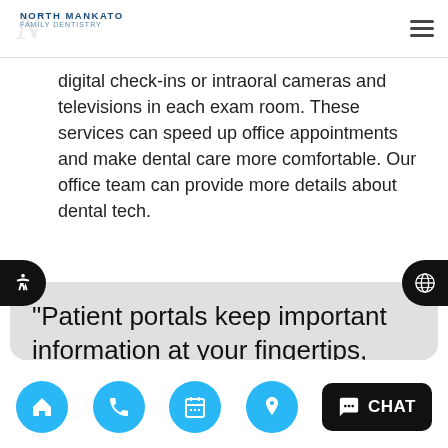NORTH MANKATO FAMILY DENTISTRY
digital check-ins or intraoral cameras and televisions in each exam room. These services can speed up office appointments and make dental care more comfortable. Our office team can provide more details about dental tech.
“Patient portals keep important information at your fingertips, and virtual